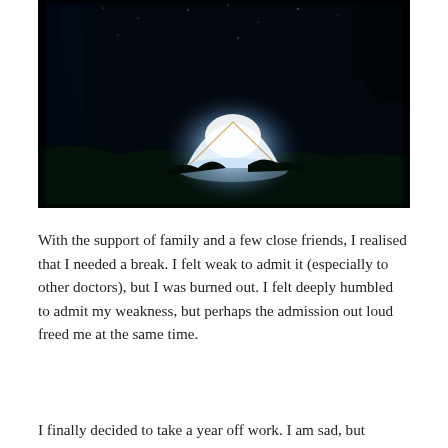[Figure (photo): Night photograph of a glowing white tent illuminated from within, surrounded by dark trees and foliage against a black night sky.]
With the support of family and a few close friends, I realised that I needed a break. I felt weak to admit it (especially to other doctors), but I was burned out. I felt deeply humbled to admit my weakness, but perhaps the admission out loud freed me at the same time.
I finally decided to take a year off work. I am sad, but